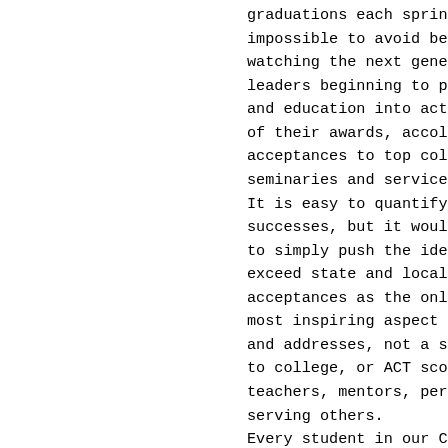graduations each spring. It is impossible to avoid being moved by watching the next generation of leaders beginning to put their faith and education into action, and to hear of their awards, accolades and acceptances to top colleges, seminaries and service academies. It is easy to quantify these academic successes, but it would be a mistake to simply push the idea of the outstanding A exceed state and local averages, or to rely acceptances as the only important metrics fe most inspiring aspect of graduation is that and addresses, not a single one of them poi to college, or ACT scores, or grades, or se teachers, mentors, personal growth, encounte serving others. Every student in our Catholic high schools w education; however, it is the preparation f